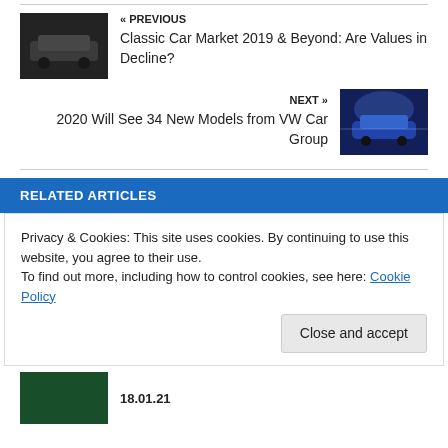« PREVIOUS
Classic Car Market 2019 & Beyond: Are Values in Decline?
NEXT »
2020 Will See 34 New Models from VW Car Group
RELATED ARTICLES
Privacy & Cookies: This site uses cookies. By continuing to use this website, you agree to their use.
To find out more, including how to control cookies, see here: Cookie Policy
Close and accept
18.01.21